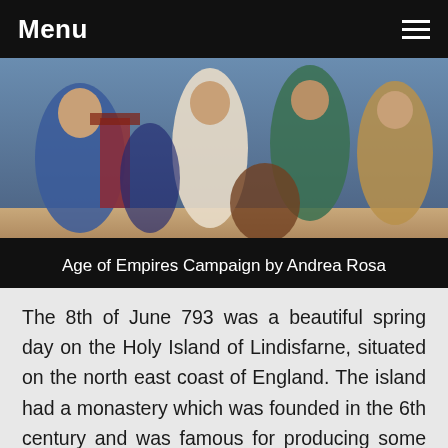Menu
[Figure (illustration): Historical painting showing medieval figures in robes and period clothing, with caption 'Age of Empires Campaign by Andrea Rosa' on a dark banner at the bottom of the image.]
The 8th of June 793 was a beautiful spring day on the Holy Island of Lindisfarne, situated on the north east coast of England. The island had a monastery which was founded in the 6th century and was famous for producing some of the finest literature of its time. The monks, who didn't suspect anything unusual, went down to the shore to greet the strangers who had arrived... And this is what an author wrote some years later: "That year the